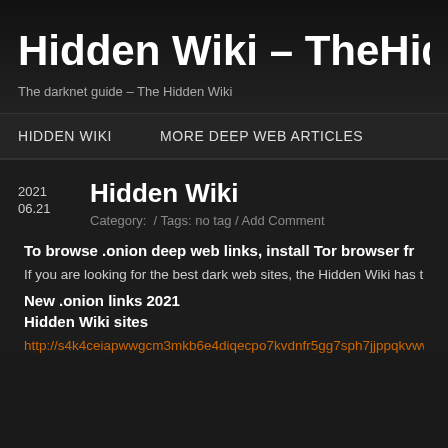Hidden Wiki – TheHiddenW
The darknet guide – The Hidden Wiki
HIDDEN WIKI   MORE DEEP WEB ARTICLES
2021
06.21
Hidden Wiki
Category:  / Tags: no tag / Add Comment
To browse .onion deep web links, install Tor browser fr
If you are looking for the best dark web sites, the Hidden Wiki has them a
New .onion links 2021
Hidden Wiki sites
http://s4k4ceiapwwgcm3mkb6e4diqecpo7kvdnfr5gg7sph7jjppqkvwwqtyd